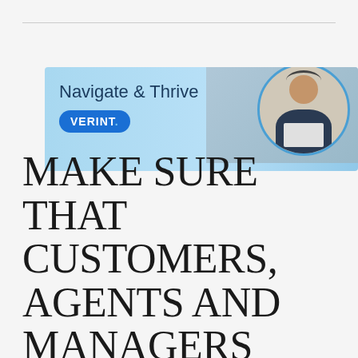[Figure (other): Verint Navigate & Thrive advertisement banner. Light blue background with text 'Navigate & Thrive' and a blue pill-shaped logo reading 'VERINT.' on the left side. On the right side, a circular-framed photo of a woman wearing a headset, working on a laptop.]
MAKE SURE THAT CUSTOMERS, AGENTS AND MANAGERS CAN NAVIGATE THE NEW NORMAL... AND BEYOND